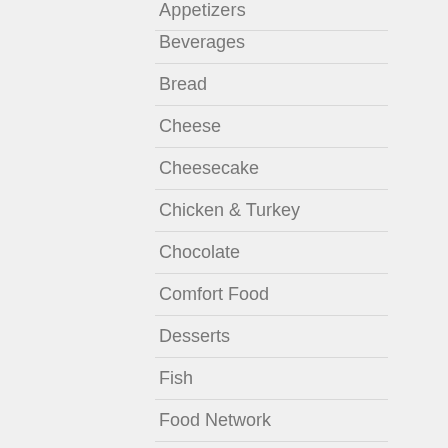Appetizers
Beverages
Bread
Cheese
Cheesecake
Chicken & Turkey
Chocolate
Comfort Food
Desserts
Fish
Food Network